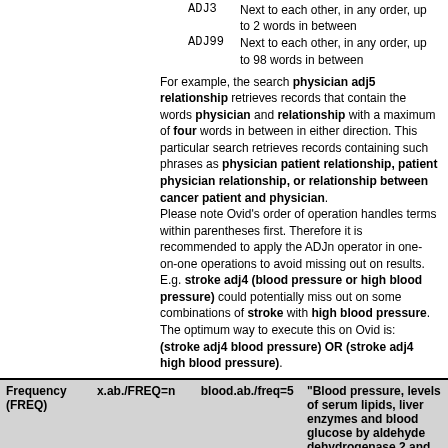ADJ3    Next to each other, in any order, up to 2 words in between
ADJ99   Next to each other, in any order, up to 98 words in between
For example, the search physician adj5 relationship retrieves records that contain the words physician and relationship with a maximum of four words in between in either direction. This particular search retrieves records containing such phrases as physician patient relationship, patient physician relationship, or relationship between cancer patient and physician.
Please note Ovid's order of operation handles terms within parentheses first. Therefore it is recommended to apply the ADJn operator in one-on-one operations to avoid missing out on results. E.g. stroke adj4 (blood pressure or high blood pressure) could potentially miss out on some combinations of stroke with high blood pressure. The optimum way to execute this on Ovid is: (stroke adj4 blood pressure) OR (stroke adj4 high blood pressure).
| Frequency (FREQ) | x.ab./FREQ=n | blood.ab./freq=5 | "Blood pressure, levels of serum lipids, liver enzymes and blood glucose by aldehyde dehydrogenase 2 and drinking habit in Japanese men" |
| --- | --- | --- | --- |
The frequency operator (FREQ) lets you specify a threshold of occurrence of a term in the records retrieved from your